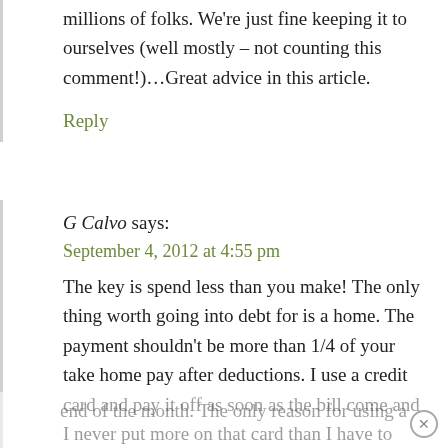millions of folks. We're just fine keeping it to ourselves (well mostly – not counting this comment!)…Great advice in this article.
Reply
G Calvo says:
September 4, 2012 at 4:55 pm
The key is spend less than you make! The only thing worth going into debt for is a home. The payment shouldn't be more than 1/4 of your take home pay after deductions. I use a credit card and pay it off as soon as the bill come and I never put more on that card than I have to pay it off at the end of the month. The only reason for using a